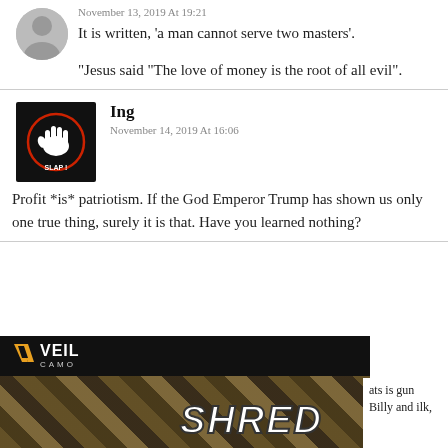November 13, 2019 At 19:21
It is written, ‘a man cannot serve two masters’.
“Jesus said “The love of money is the root of all evil”.
Ing
November 14, 2019 At 16:06
Profit *is* patriotism. If the God Emperor Trump has shown us only one true thing, surely it is that. Have you learned nothing?
[Figure (photo): Advertisement banner for VEIL CAMO with SHRED text overlay and camouflage pattern background, with partial text 'ats is gun' and 'Billy and ilk,' visible on right side]